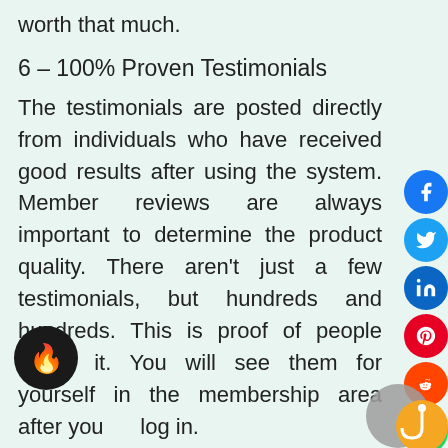worth that much.
6 – 100% Proven Testimonials
The testimonials are posted directly from individuals who have received good results after using the system. Member reviews are always important to determine the product quality. There aren't just a few testimonials, but hundreds and hundreds. This is proof of people loving it. You will see them for yourself in the membership area after you log in.
7 – Instant Access